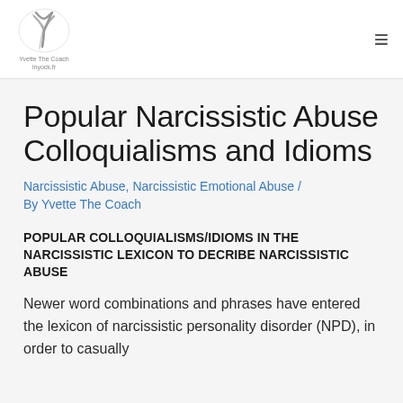Yvette The Coach / lnyock.fr
Popular Narcissistic Abuse Colloquialisms and Idioms
Narcissistic Abuse, Narcissistic Emotional Abuse / By Yvette The Coach
POPULAR COLLOQUIALISMS/IDIOMS IN THE NARCISSISTIC LEXICON TO DECRIBE NARCISSISTIC ABUSE
Newer word combinations and phrases have entered the lexicon of narcissistic personality disorder (NPD), in order to casually